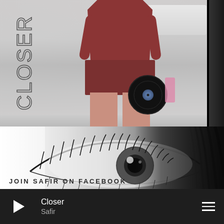[Figure (photo): Album art for 'Closer' by Safir. Top half shows a woman in a dark red/maroon outfit holding a vinyl record, standing against a grey/white background. The word 'CLOSER' appears vertically on the left in outline letters. Bottom half shows a close-up black and white photograph of a woman's eye with long lashes. Hair flows across the right side in dark tones.]
JOIN SAFIR ON FACEBOOK
Closer
Safir